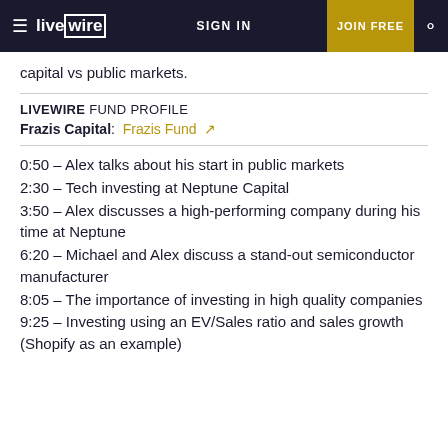livewire | SIGN IN | JOIN FREE
capital vs public markets.
LIVEWIRE FUND PROFILE
Frazis Capital: Frazis Fund ↗
0:50 – Alex talks about his start in public markets
2:30 – Tech investing at Neptune Capital
3:50 – Alex discusses a high-performing company during his time at Neptune
6:20 – Michael and Alex discuss a stand-out semiconductor manufacturer
8:05 – The importance of investing in high quality companies
9:25 – Investing using an EV/Sales ratio and sales growth (Shopify as an example)